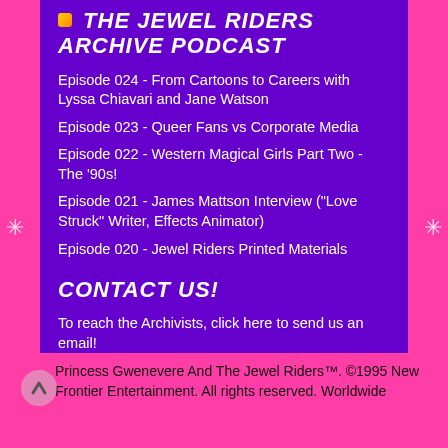THE JEWEL RIDERS ARCHIVE PODCAST
Episode 024 - From Cartoons to Careers with Lyssa Chiavari and Jane Watson
Episode 023 - Queer Fans vs Corporate Media
Episode 022 - Western Magical Girls Part Two - The '90s!
Episode 021 - James Mattson Interview ("Love Struck" Writer, Effects Animator)
Episode 020 - Jewel Riders Printed Materials
CONTACT US!
To reach the Archivists, click here to send us an email!
Princess Gwenevere And The Jewel Riders™. ©1995 New Frontier Entertainment. All rights reserved. Worldwide